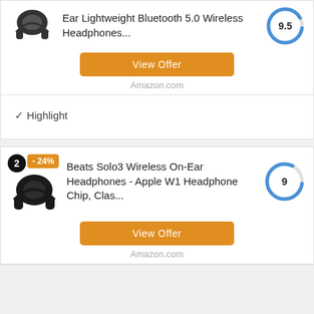Ear Lightweight Bluetooth 5.0 Wireless Headphones...
View Offer
Amazon.com
✓ Highlight
2  -24%
Beats Solo3 Wireless On-Ear Headphones - Apple W1 Headphone Chip, Clas...
View Offer
Amazon.com